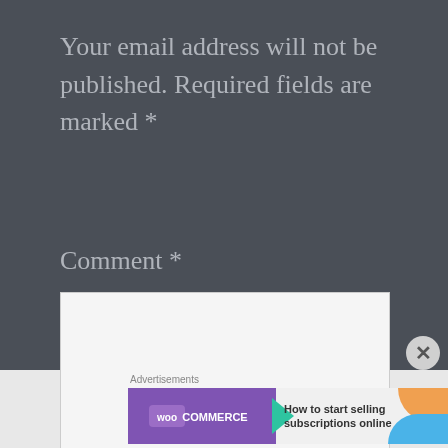Your email address will not be published. Required fields are marked *
Comment *
[Figure (screenshot): Empty comment text area input box with light grey background]
[Figure (other): Close button (X circle) on the right side]
Advertisements
[Figure (other): WooCommerce advertisement banner: How to start selling subscriptions online]